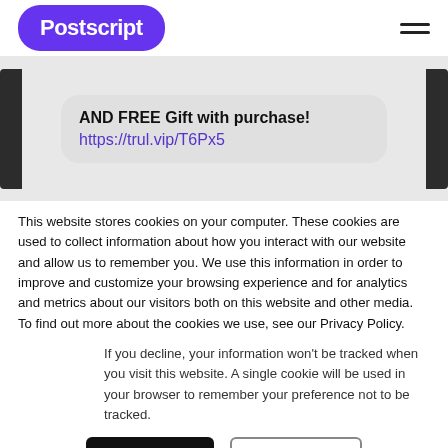Postscript
[Figure (screenshot): SMS message preview showing: 'AND FREE Gift with purchase! https://trul.vip/T6Px5']
This website stores cookies on your computer. These cookies are used to collect information about how you interact with our website and allow us to remember you. We use this information in order to improve and customize your browsing experience and for analytics and metrics about our visitors both on this website and other media. To find out more about the cookies we use, see our Privacy Policy.
If you decline, your information won't be tracked when you visit this website. A single cookie will be used in your browser to remember your preference not to be tracked.
Accept
Decline